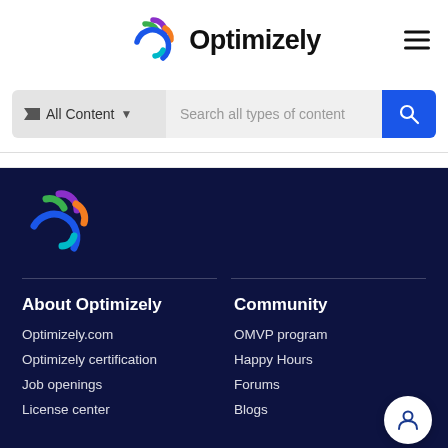[Figure (logo): Optimizely logo in header — colorful pinwheel/rocket icon with 'Optimizely' text in bold black]
[Figure (other): Hamburger menu icon (three horizontal lines) in top-right corner]
All Content ▼  Search all types of content
[Figure (logo): Optimizely pinwheel/rocket logo in footer (white background circle, multicolor arcs) on dark navy background]
About Optimizely
Optimizely.com
Optimizely certification
Job openings
License center
Community
OMVP program
Happy Hours
Forums
Blogs